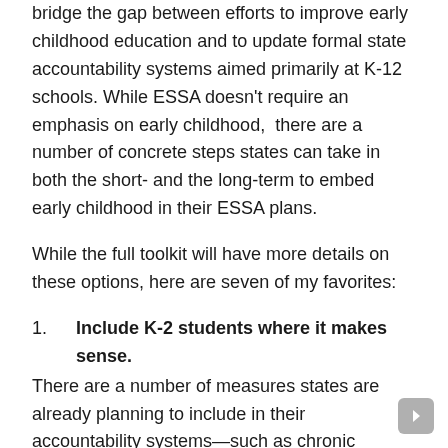bridge the gap between efforts to improve early childhood education and to update formal state accountability systems aimed primarily at K-12 schools. While ESSA doesn't require an emphasis on early childhood, there are a number of concrete steps states can take in both the short- and the long-term to embed early childhood in their ESSA plans.
While the full toolkit will have more details on these options, here are seven of my favorites:
1. Include K-2 students where it makes sense. There are a number of measures states are already planning to include in their accountability systems—such as chronic absenteeism, English language proficiency, teacher absenteeism, student discipline, school climate, etc.—that could easily include students in kindergarten through second grade.